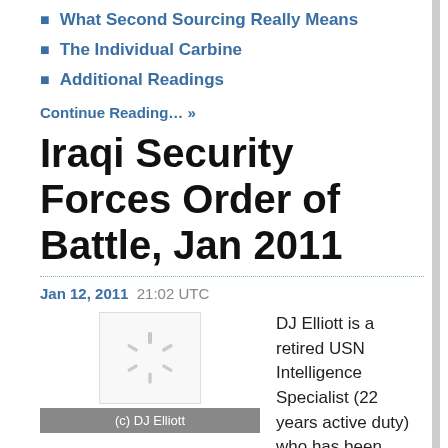What Second Sourcing Really Means
The Individual Carbine
Additional Readings
Continue Reading… »
Iraqi Security Forces Order of Battle, Jan 2011
Jan 12, 2011  21:02 UTC
[Figure (illustration): Loading spinner image placeholder with (c) DJ Elliott caption bar below]
DJ Elliott is a retired USN Intelligence Specialist (22 years active duty) who has been analyzing and writing on Iraqi Security Forces developments since 2006. His Iraqi Security Forces Order of Battle is an open-source compilation that attempts to map and detail Iraqi units